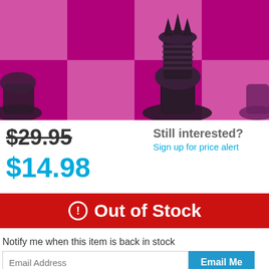[Figure (photo): Close-up photo of dark chess pieces on a magenta/pink and purple checkered chess board]
$29.95 (strikethrough)
$14.98
Still interested?
Sign up for price alert
Out of Stock
Notify me when this item is back in stock
Email Address
Email Me